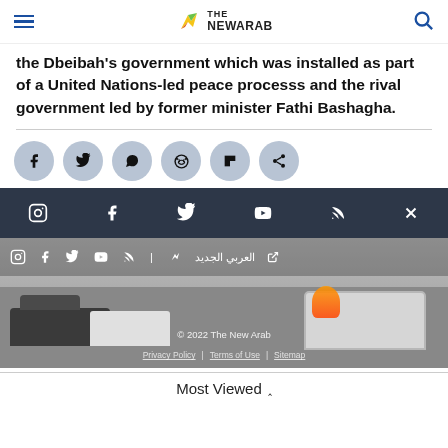The New Arab
the Dbeibah's government which was installed as part of a United Nations-led peace processs and the rival government led by former minister Fathi Bashagha.
[Figure (screenshot): Social share icons: Facebook, Twitter, WhatsApp, Reddit, Flipboard, Share]
[Figure (photo): Photo of burnt-out car on a street, with another car visible. Overlaid with dark footer bar showing social media icons (Instagram, Facebook, Twitter, YouTube, RSS, X/close), sub-bar with social icons and Arabic logo, copyright text '© 2022 The New Arab', and links to Privacy Policy, Terms of Use, Sitemap.]
Most Viewed ^